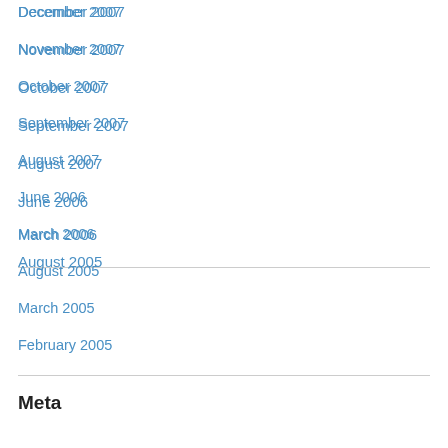December 2007
November 2007
October 2007
September 2007
August 2007
June 2006
March 2006
August 2005
March 2005
February 2005
Meta
Register
Log in
Entries feed
Comments feed
WordPress.com